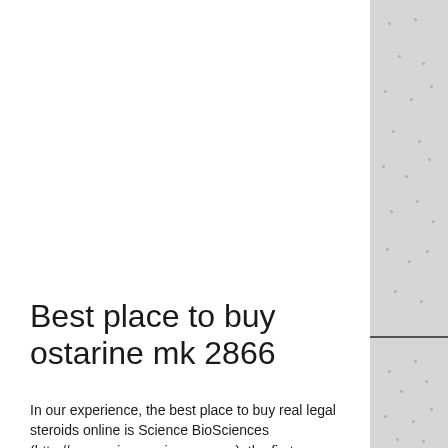Best place to buy ostarine mk 2866
In our experience, the best place to buy real legal steroids online is Science BioSciences (http://www.sciencesciences.com), the first